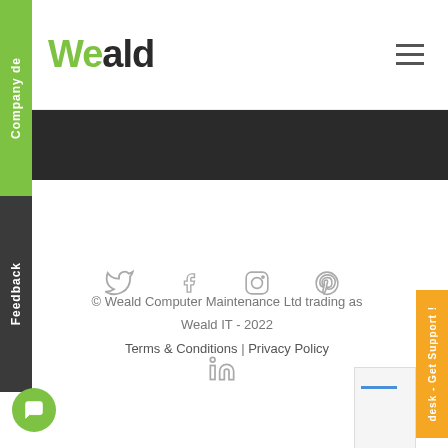[Figure (logo): Weald IT company logo - 'We' in green, 'ald' in dark grey/black]
[Figure (illustration): Hamburger menu icon (three horizontal lines)]
[Figure (illustration): Green vertical sidebar tab labeled 'Company de']
[Figure (illustration): Dark vertical sidebar tab labeled 'Feedback']
© Weald Computer Maintenance Ltd trading as Weald IT - 2022
Terms & Conditions | Privacy Policy
[Figure (illustration): Social media icons: Twitter, Facebook, Instagram, Pinterest, LinkedIn]
[Figure (illustration): Orange 'Get Support!' vertical side tab on right edge]
[Figure (illustration): Green chat bubble icon in bottom left]
[Figure (illustration): Document/paper corner peek at bottom right]